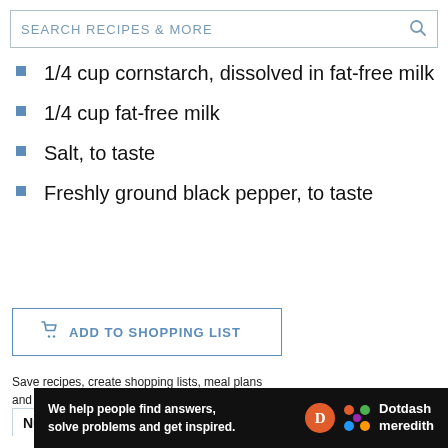SEARCH RECIPES & MORE
1/4 cup cornstarch, dissolved in fat-free milk
1/4 cup fat-free milk
Salt, to taste
Freshly ground black pepper, to taste
ADD TO SHOPPING LIST
Save recipes, create shopping lists, meal plans and more.
Nutrition Facts (per serving)
Ad
We help people find answers, solve problems and get inspired. Dotdash meredith